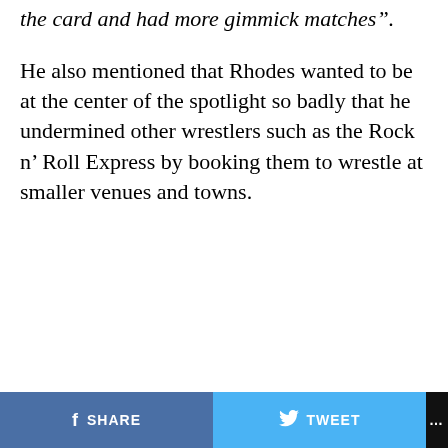the card and had more gimmick matches".
He also mentioned that Rhodes wanted to be at the center of the spotlight so badly that he undermined other wrestlers such as the Rock n’ Roll Express by booking them to wrestle at smaller venues and towns.
SHARE   TWEET   ...